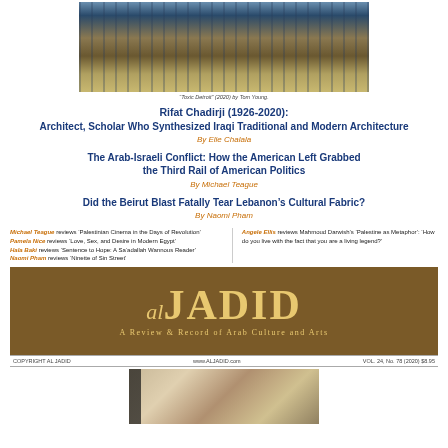[Figure (illustration): Panoramic cityscape painting, appearing to show an urban skyline with buildings and smoke]
'Toxic Detroit' (2020) by Tom Young
Rifat Chadirji (1926-2020): Architect, Scholar Who Synthesized Iraqi Traditional and Modern Architecture
By Elie Chalala
The Arab-Israeli Conflict: How the American Left Grabbed the Third Rail of American Politics
By Michael Teague
Did the Beirut Blast Fatally Tear Lebanon's Cultural Fabric?
By Naomi Pham
Michael Teague reviews 'Palestinian Cinema in the Days of Revolution'
Pamela Nice reviews 'Love, Sex, and Desire in Modern Egypt'
Hala Baki reviews 'Sentence to Hope: A Sa'adallah Wannous Reader'
Naomi Pham reviews 'Ninette of Sin Street'
Angele Ellis reviews Mahmoud Darwish's 'Palestine as Metaphor': 'How do you live with the fact that you are a living legend?'
[Figure (logo): Al Jadid magazine logo — brown background with gold lettering 'al JADID' and subtitle 'A Review & Record of Arab Culture and Arts']
COPYRIGHT AL JADID   www.ALJADID.com   VOL. 24, No. 78 (2020) $8.95
[Figure (illustration): Architectural painting or drawing showing buildings, appearing to be Middle Eastern architecture]